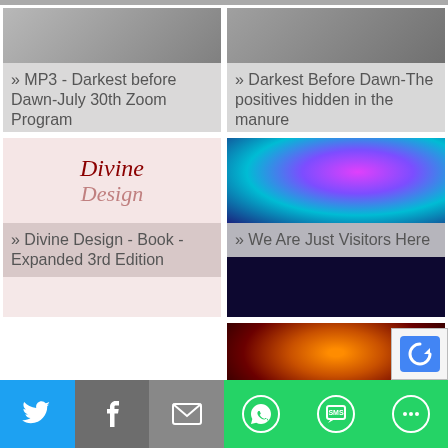[Figure (screenshot): Card: MP3 - Darkest before Dawn-July 30th Zoom Program with gray background image]
[Figure (screenshot): Card: Darkest Before Dawn-The positives hidden in the manure with gray background image]
[Figure (illustration): Card: Divine Design book cover with pink/red serif text on light pink background]
» Divine Design - Book - Expanded 3rd Edition
[Figure (screenshot): Card: We Are Just Visitors Here with colorful cosmic neural network image]
[Figure (illustration): Blog logo in green cursive script]
[Figure (screenshot): Card: What is Your with solar eclipse image]
Twitter | Facebook | Email | WhatsApp | SMS | More